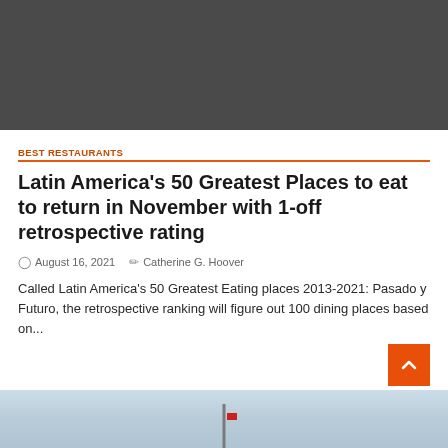[Figure (photo): Dark gray rectangular image placeholder at the top of the article]
BEST RESTAURANTS
Latin America's 50 Greatest Places to eat to return in November with 1-off retrospective rating
August 16, 2021   Catherine G. Hoover
Called Latin America's 50 Greatest Eating places 2013-2021: Pasado y Futuro, the retrospective ranking will figure out 100 dining places based on...
[Figure (photo): Partially visible photo at the bottom showing sky and clouds with a flag pole]